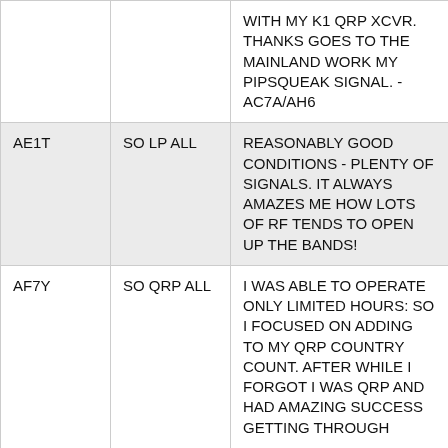|  |  | WITH MY K1 QRP XCVR. THANKS GOES TO THE MAINLAND WORK MY PIPSQUEAK SIGNAL. - AC7A/AH6 |
| AE1T | SO LP ALL | REASONABLY GOOD CONDITIONS - PLENTY OF SIGNALS. IT ALWAYS AMAZES ME HOW LOTS OF RF TENDS TO OPEN UP THE BANDS! |
| AF7Y | SO QRP ALL | I WAS ABLE TO OPERATE ONLY LIMITED HOURS: SO I FOCUSED ON ADDING TO MY QRP COUNTRY COUNT. AFTER WHILE I FORGOT I WAS QRP AND HAD AMAZING SUCCESS GETTING THROUGH |